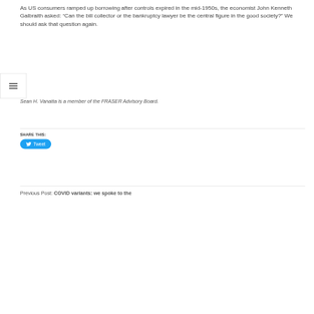As US consumers ramped up borrowing after controls expired in the mid-1950s, the economist John Kenneth Galbraith asked: “Can the bill collector or the bankruptcy lawyer be the central figure in the good society?” We should ask that question again.
Sean H. Vanatta is a member of the FRASER Advisory Board.
SHARE THIS: Tweet
Previous Post: COVID variants: we spoke to the